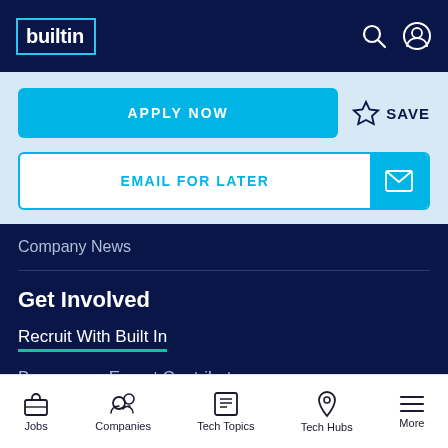builtin
APPLY NOW
SAVE
EMAIL FOR LATER
Company News
Get Involved
Recruit With Built In
Become an Expert Contributor
Jobs  Companies  Tech Topics  Tech Hubs  More